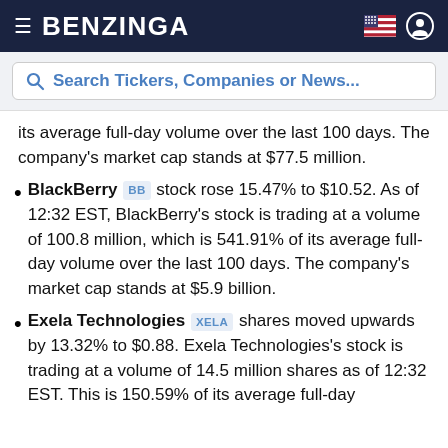BENZINGA
Search Tickers, Companies or News...
its average full-day volume over the last 100 days. The company's market cap stands at $77.5 million.
BlackBerry BB stock rose 15.47% to $10.52. As of 12:32 EST, BlackBerry's stock is trading at a volume of 100.8 million, which is 541.91% of its average full-day volume over the last 100 days. The company's market cap stands at $5.9 billion.
Exela Technologies XELA shares moved upwards by 13.32% to $0.88. Exela Technologies's stock is trading at a volume of 14.5 million shares as of 12:32 EST. This is 150.59% of its average full-day